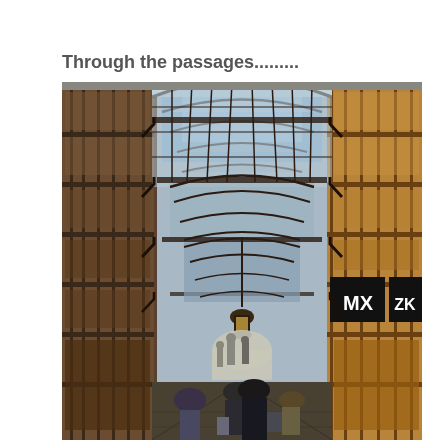Through the passages.........
[Figure (photo): Interior of a covered passage (arcade) with glass roof ceiling, iron framework, shop fronts on both sides, hanging lantern, and people walking in the distance. Signs visible on the right side reading 'MX' and 'ZK'.]